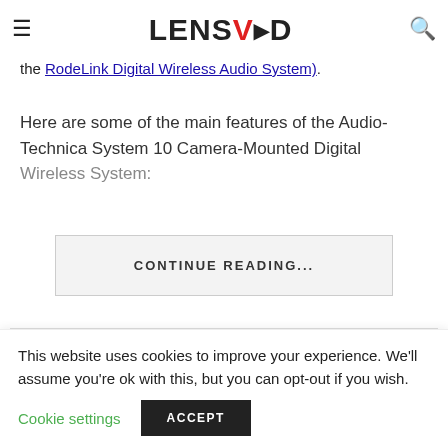LensVid
the RodeLink Digital Wireless Audio System).
Here are some of the main features of the Audio-Technica System 10 Camera-Mounted Digital Wireless System:
CONTINUE READING...
Tagged:
This website uses cookies to improve your experience. We'll assume you're ok with this, but you can opt-out if you wish.
Cookie settings
ACCEPT